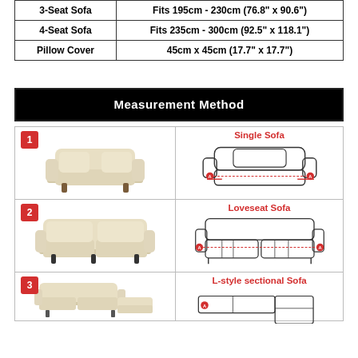|  | Size |
| --- | --- |
| 3-Seat Sofa | Fits 195cm - 230cm (76.8" x 90.6") |
| 4-Seat Sofa | Fits 235cm - 300cm (92.5" x 118.1") |
| Pillow Cover | 45cm x 45cm (17.7" x 17.7") |
Measurement Method
[Figure (infographic): Row 1: Photo of a single-seat sofa (cream/beige), next to a line-art diagram of a single sofa with measurement arrows labeled A on each armrest, titled 'Single Sofa' in red.]
[Figure (infographic): Row 2: Photo of a loveseat sofa (cream/beige), next to a line-art diagram of a loveseat/recliner sofa with measurement arrows labeled A on each side, titled 'Loveseat Sofa' in red.]
[Figure (infographic): Row 3 (partial): Photo of L-style sectional sofa partially shown, next to line-art diagram of L-style sectional sofa with measurement point A, titled 'L-style sectional Sofa' in red.]